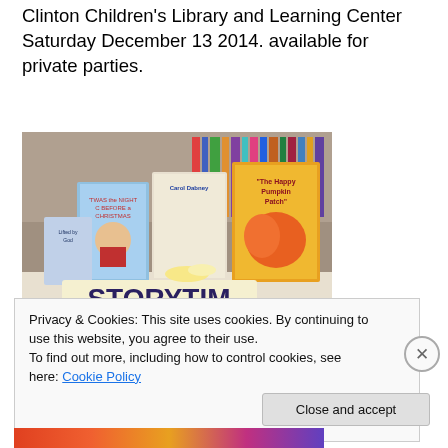Clinton Children's Library and Learning Center Saturday December 13 2014. available for private parties.
[Figure (photo): A storytime display table at the Clinton Children's Library. Books are propped up showing covers including 'Twas the Night Before Christmas', 'Carol Dabney', 'The Happy Pumpkin Patch', and 'Lifted by God'. Colorful letter blocks spell out 'STORYTIME' on the table. Various children's books and materials are displayed.]
Privacy & Cookies: This site uses cookies. By continuing to use this website, you agree to their use.
To find out more, including how to control cookies, see here: Cookie Policy
Close and accept